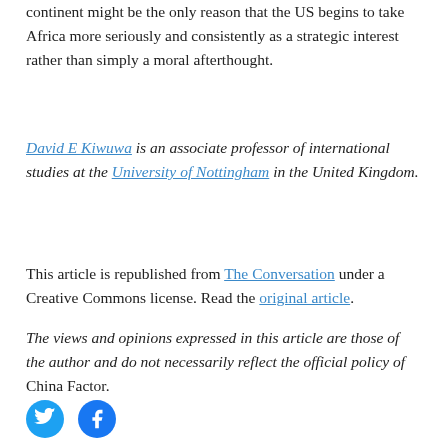continent might be the only reason that the US begins to take Africa more seriously and consistently as a strategic interest rather than simply a moral afterthought.
David E Kiwuwa is an associate professor of international studies at the University of Nottingham in the United Kingdom.
This article is republished from The Conversation under a Creative Commons license. Read the original article.
The views and opinions expressed in this article are those of the author and do not necessarily reflect the official policy of China Factor.
[Figure (other): Social media share icons: Twitter (blue circle with bird) and Facebook (blue circle with f)]